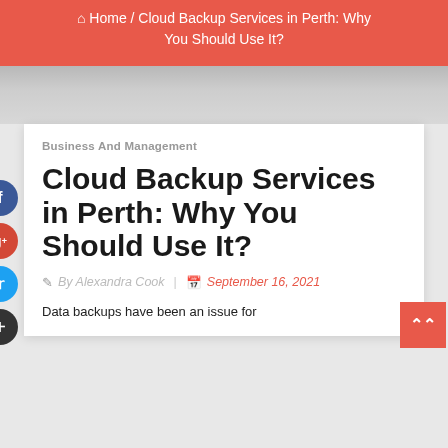Home / Cloud Backup Services in Perth: Why You Should Use It?
Business And Management
Cloud Backup Services in Perth: Why You Should Use It?
By Alexandra Cook | September 16, 2021
Data backups have been an issue for